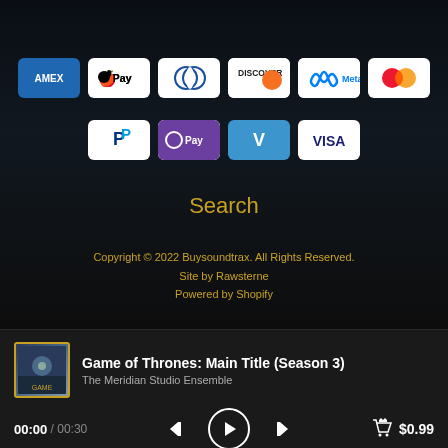[Figure (screenshot): Payment icons row 1: AMEX, Apple Pay, Diners Club, Discover, Meta, Mastercard]
[Figure (screenshot): Payment icons row 2: PayPal, O Pay, Venmo, VISA]
Search
Copyright © 2022 Buysoundtrax. All Rights Reserved.
Site by Rawsterne
Powered by Shopify
[Figure (screenshot): Music player bar showing Game of Thrones: Main Title (Season 3) by The Meridian Studio Ensemble, time 00:00/00:30, play controls, price $0.99]